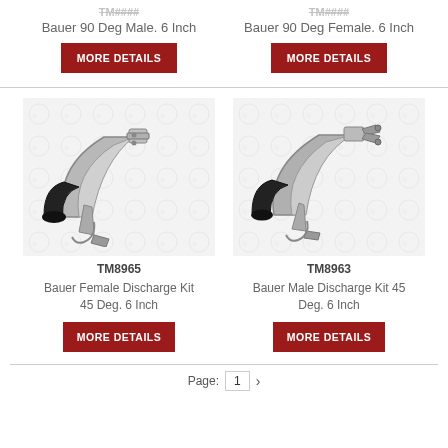TM####
Bauer 90 Deg Male. 6 Inch
MORE DETAILS
TM####
Bauer 90 Deg Female. 6 Inch
MORE DETAILS
[Figure (photo): Bauer Female Discharge Kit 45 Deg 6 Inch product photo with watermark background]
[Figure (photo): Bauer Male Discharge Kit 45 Deg 6 Inch product photo with watermark background]
TM8965
Bauer Female Discharge Kit 45 Deg. 6 Inch
MORE DETAILS
TM8963
Bauer Male Discharge Kit 45 Deg. 6 Inch
MORE DETAILS
Page: 1 ›